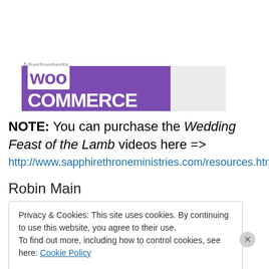Advertisements
[Figure (logo): WooCommerce advertisement banner with purple background and gray section]
NOTE: You can purchase the Wedding Feast of the Lamb videos here =>
http://www.sapphirethroneministries.com/resources.html
Robin Main
Privacy & Cookies: This site uses cookies. By continuing to use this website, you agree to their use.
To find out more, including how to control cookies, see here: Cookie Policy